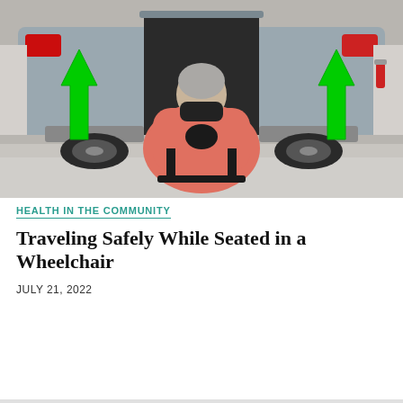[Figure (photo): A person in a power wheelchair, seen from behind, approaching the open rear hatch of a silver minivan/accessible vehicle. The person is wearing a pink/salmon top and has grey hair. Two large green upward-pointing arrows are overlaid on the left and right sides of the image, indicating upward movement or lift direction.]
HEALTH IN THE COMMUNITY
Traveling Safely While Seated in a Wheelchair
JULY 21, 2022
Load more ↓